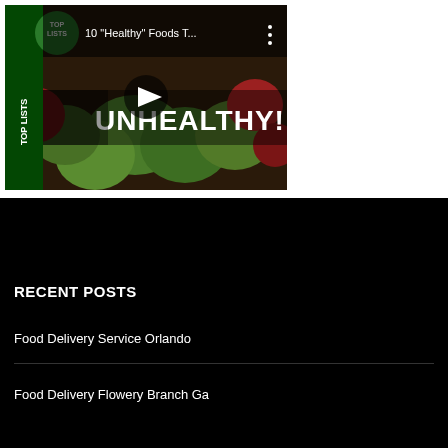[Figure (screenshot): YouTube video thumbnail showing 'TOP LISTS - 10 "Healthy" Foods T...' with text UNHEALTHY! over apples background, play button visible, three-dot menu icon]
RECENT POSTS
Food Delivery Service Orlando
Food Delivery Flowery Branch Ga